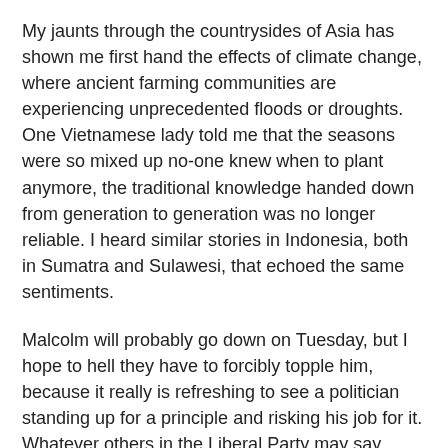My jaunts through the countrysides of Asia has shown me first hand the effects of climate change, where ancient farming communities are experiencing unprecedented floods or droughts. One Vietnamese lady told me that the seasons were so mixed up no-one knew when to plant anymore, the traditional knowledge handed down from generation to generation was no longer reliable. I heard similar stories in Indonesia, both in Sumatra and Sulawesi, that echoed the same sentiments.
Malcolm will probably go down on Tuesday, but I hope to hell they have to forcibly topple him, because it really is refreshing to see a politician standing up for a principle and risking his job for it. Whatever others in the Liberal Party may say, Malcolm is correct in saying that a Party not committed to a policy of greenhouse gas emission reduction is a backward thinking Party and doesn't deserve to be elected. This week has almost certainly put them out in the political wilderness for the next and possibly the following electoral term. Kev must be chuckling with glee.
But my biggest piece of invective goes to that slimy fence